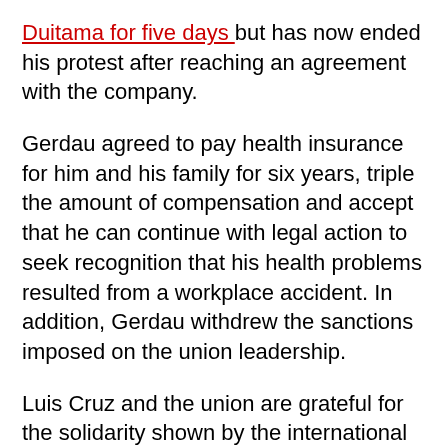Duitama for five days but has now ended his protest after reaching an agreement with the company.
Gerdau agreed to pay health insurance for him and his family for six years, triple the amount of compensation and accept that he can continue with legal action to seek recognition that his health problems resulted from a workplace accident. In addition, Gerdau withdrew the sanctions imposed on the union leadership.
Luis Cruz and the union are grateful for the solidarity shown by the international network. The Gerdau Workers' World Council and IndustriALL Global Union wrote to the company to support Luis and denounce the dismissals that are taking place at Gerdau factories in Colombia.
IndustriALL welcomes the agreement and reiterates